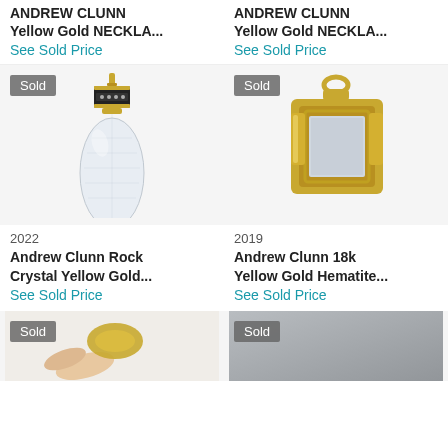ANDREW CLUNN Yellow Gold NECKLA...
See Sold Price
ANDREW CLUNN Yellow Gold NECKLA...
See Sold Price
[Figure (photo): Andrew Clunn Rock Crystal Yellow Gold pendant with black enamel cap, teardrop shaped, with Sold badge]
2022
Andrew Clunn Rock Crystal Yellow Gold...
See Sold Price
[Figure (photo): Andrew Clunn 18k Yellow Gold Hematite pendant, rectangular frame pendant in gold, with Sold badge]
2019
Andrew Clunn 18k Yellow Gold Hematite...
See Sold Price
[Figure (photo): Partial view of another Andrew Clunn jewelry item with Sold badge, hand holding gold piece]
[Figure (photo): Partial view of Andrew Clunn jewelry item with Sold badge, gray/silver background]